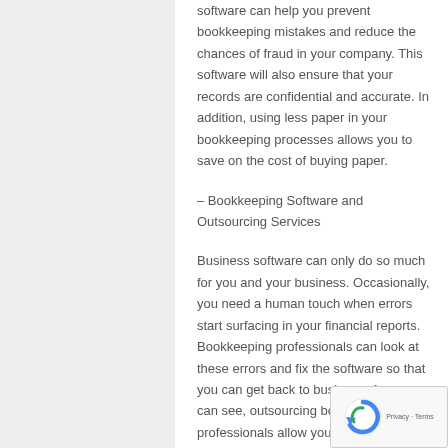software can help you prevent bookkeeping mistakes and reduce the chances of fraud in your company. This software will also ensure that your records are confidential and accurate. In addition, using less paper in your bookkeeping processes allows you to save on the cost of buying paper.
– Bookkeeping Software and Outsourcing Services
Business software can only do so much for you and your business. Occasionally, you need a human touch when errors start surfacing in your financial reports. Bookkeeping professionals can look at these errors and fix the software so that you can get back to business. As you can see, outsourcing bookkeeping professionals allow you to keep working without having to recruit bookkeeping employees. Therefore,